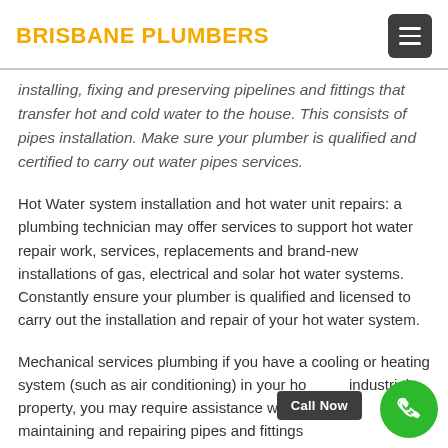BRISBANE PLUMBERS
installing, fixing and preserving pipelines and fittings that transfer hot and cold water to the house. This consists of pipes installation. Make sure your plumber is qualified and certified to carry out water pipes services.
Hot Water system installation and hot water unit repairs: a plumbing technician may offer services to support hot water repair work, services, replacements and brand-new installations of gas, electrical and solar hot water systems. Constantly ensure your plumber is qualified and licensed to carry out the installation and repair of your hot water system.
Mechanical services plumbing if you have a cooling or heating system (such as air conditioning) in your home or industrial property, you may require assistance with installing, maintaining and repairing pipes and fittings